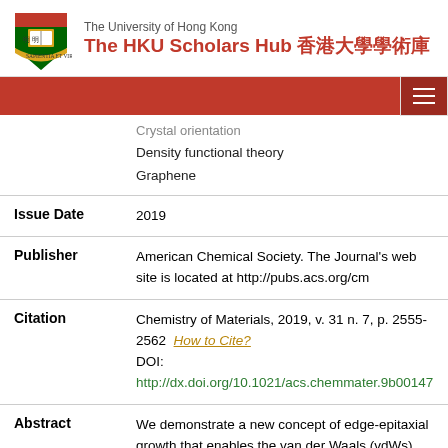The University of Hong Kong — The HKU Scholars Hub 香港大學學術庫
|  | Crystal orientation
Density functional theory
Graphene |
| Issue Date | 2019 |
| Publisher | American Chemical Society. The Journal's web site is located at http://pubs.acs.org/cm |
| Citation | Chemistry of Materials, 2019, v. 31 n. 7, p. 2555-2562  How to Cite?
DOI: http://dx.doi.org/10.1021/acs.chemmater.9b00147 |
| Abstract | We demonstrate a new concept of edge-epitaxial growth that enables the van der Waals (vdWs) epitaxial graphene growth on different Cu facets. This approach simply entails turning off hydrogen during the nucleation stage of the atmospheric pressure chemical vapor deposition process. Fundamentally different |